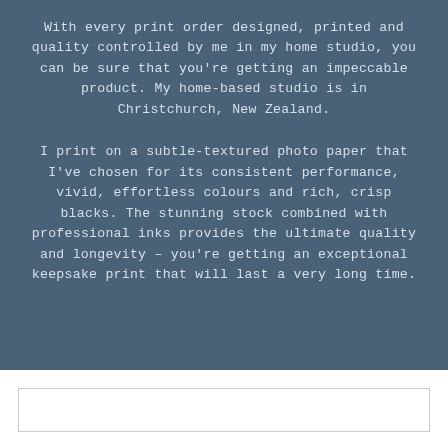With every print order designed, printed and quality controlled by me in my home studio, you can be sure that you're getting an impeccable product. My home-based studio is in Christchurch, New Zealand.
I print on a subtle-textured photo paper that I've chosen for its consistent performance, vivid, effortless colours and rich, crisp blacks. The stunning stock combined with professional inks provides the ultimate quality and longevity – you're getting an exceptional keepsake print that will last a very long time.